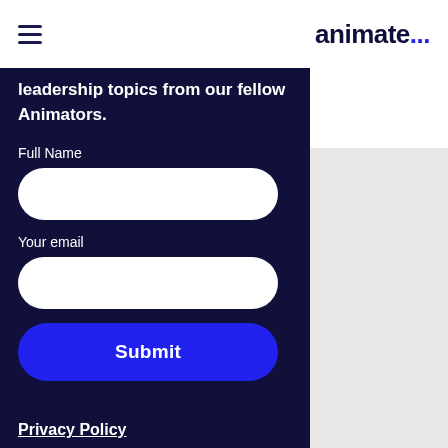animate...
leadership topics from our fellow Animators.
Full Name
Your email
Submit
Privacy Policy